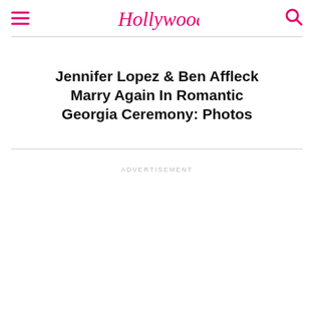Hollywood Life
Jennifer Lopez & Ben Affleck Marry Again In Romantic Georgia Ceremony: Photos
ADVERTISEMENT